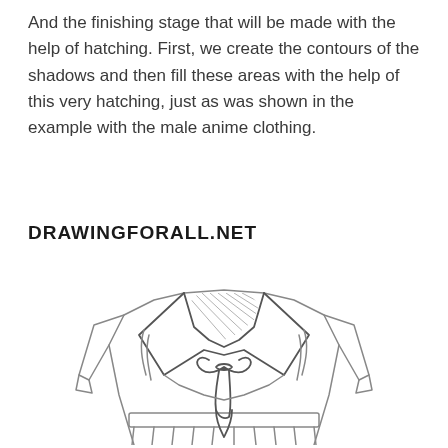And the finishing stage that will be made with the help of hatching. First, we create the contours of the shadows and then fill these areas with the help of this very hatching, just as was shown in the example with the male anime clothing.
DRAWINGFORALL.NET
[Figure (illustration): Line drawing illustration of an anime-style female sailor uniform (serafuku) from the front, showing a white top with a wide sailor collar that has diagonal hatching in the shadow area at the neck, a bow/neckerchief tied at the chest with a pointed end, long sleeves, and the top of a pleated skirt at the bottom.]